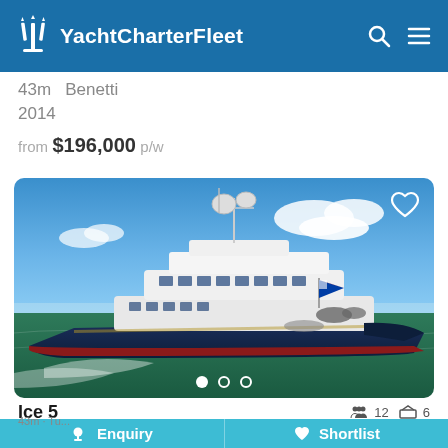YachtCharterFleet
43m  Benetti
2014
from $196,000 p/w
[Figure (photo): Aerial side view of Ice 5, a 43m Benetti motor yacht, cruising on open water with a deep blue hull, white superstructure, communications mast, and a flag flying at the stern. Blue sky with light clouds in background.]
Ice 5
12  6
Enquiry
Shortlist